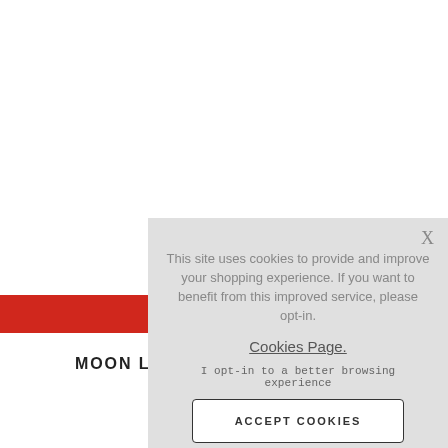[Figure (screenshot): Red horizontal bar element from website navigation]
MOON L
[Figure (screenshot): Cookie consent overlay popup with close button X, message: 'This site uses cookies to provide and improve your shopping experience. If you want to benefit from this improved service, please opt-in. Cookies Page.', opt-in text 'I opt-in to a better browsing experience', and ACCEPT COOKIES button]